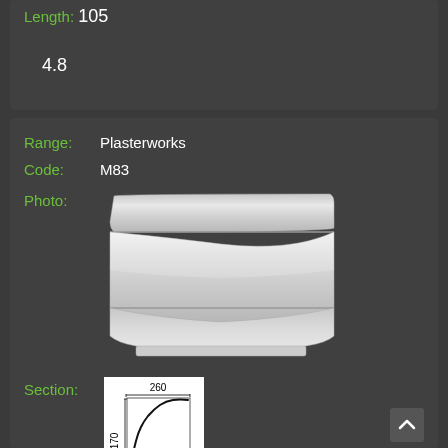Length: 105
4.8
Range: Plasterworks
Code: M83
Photo:
[Figure (photo): White plasterworks cornice moulding M83, showing a curved profile with double ridges, photographed against dark background]
Section:
[Figure (engineering-diagram): Cross-section diagram of cornice M83 showing curved profile outline with dimensions 260 width and 170 height]